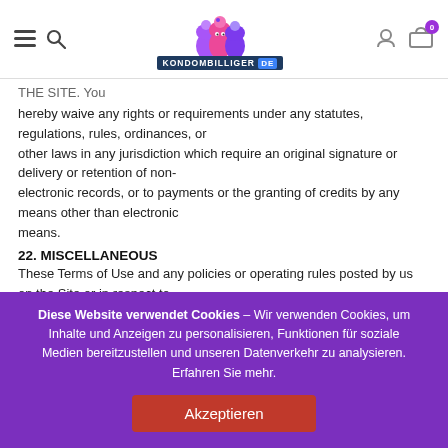[Figure (logo): Kondombilliger.de website header with hamburger menu, search icon, logo with cartoon condom characters, user icon, and cart icon with badge showing 0]
THE SITE. You
hereby waive any rights or requirements under any statutes, regulations, rules, ordinances, or other laws in any jurisdiction which require an original signature or delivery or retention of non-electronic records, or to payments or the granting of credits by any means other than electronic means.
22. MISCELLANEOUS
These Terms of Use and any policies or operating rules posted by us on the Site or in respect to the Site constitute the entire agreement and understanding between
Diese Website verwendet Cookies – Wir verwenden Cookies, um Inhalte und Anzeigen zu personalisieren, Funktionen für soziale Medien bereitzustellen und unseren Datenverkehr zu analysieren. Erfahren Sie mehr.
Akzeptieren